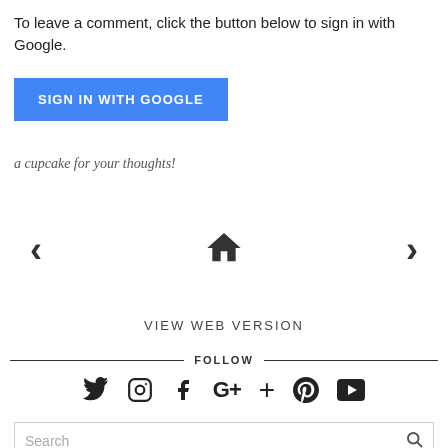To leave a comment, click the button below to sign in with Google.
[Figure (other): Blue 'SIGN IN WITH GOOGLE' button]
a cupcake for your thoughts!
[Figure (other): Navigation row with left arrow, home icon, and right arrow]
VIEW WEB VERSION
FOLLOW
[Figure (other): Social media icons: Twitter, Instagram, Facebook, Google+, Blogger, Pinterest, YouTube]
[Figure (other): Search bar with magnifying glass icon]